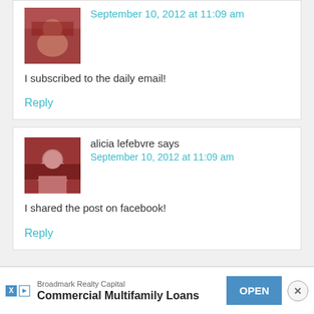September 10, 2012 at 11:09 am
I subscribed to the daily email!
Reply
alicia lefebvre says
September 10, 2012 at 11:09 am
I shared the post on facebook!
Reply
Broadmark Realty Capital
Commercial Multifamily Loans